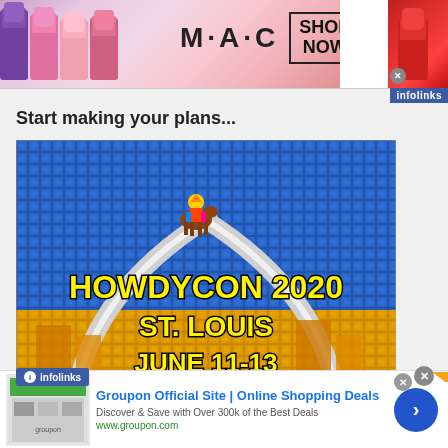[Figure (screenshot): MAC cosmetics advertisement banner showing lipsticks with MAC logo and SHOP NOW button]
Start making your plans...
[Figure (photo): HowdyCon 2020 St. Louis June 11-13 event promotional image with LEGO Gateway Arch and character on horse]
[Figure (screenshot): Groupon advertisement - Groupon Official Site | Online Shopping Deals - Discover & Save with Over 300k of the Best Deals - www.groupon.com]